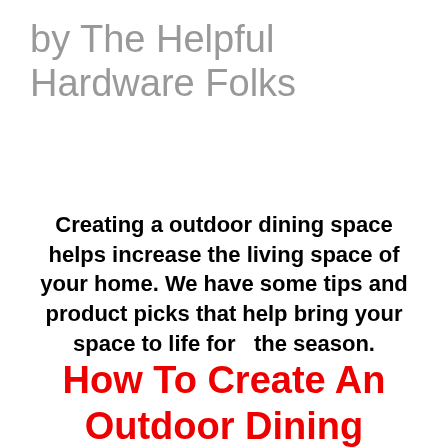by The Helpful Hardware Folks
Creating a outdoor dining space helps increase the living space of your home. We have some tips and product picks that help bring your space to life for  the season.
How To Create An Outdoor Dining